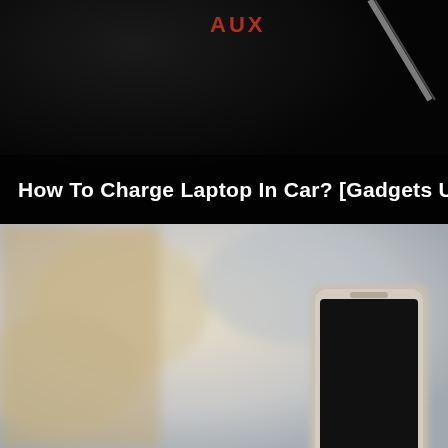[Figure (photo): Dark photo of a car interior dashboard/console area showing 'AUX' label text in red/orange on black surface, with a diagonal light-colored element (possibly a screen edge or trim) visible in the upper right. White bold text overlay at bottom reads: 'How To Charge Laptop In Car? [Gadgets Used]']
[Figure (photo): Blurry/bokeh photo taken inside a vehicle showing a smartphone (appears to be an iPhone in a silver/gold case with black screen) held up or mounted, with blurred beige/cream interior elements in the background.]